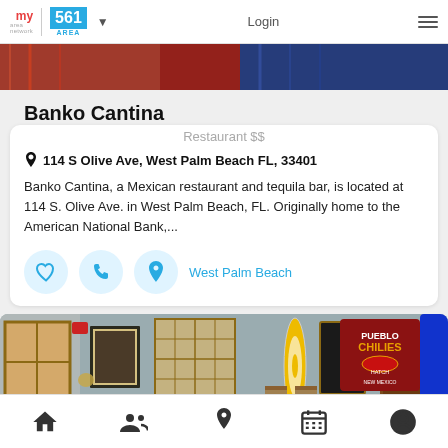my area network | 561 AREA ▼   Login   ≡
[Figure (photo): Top partial photo strip showing colorful fabric/clothing in red/orange and blue patterns]
Banko Cantina
Restaurant $$
114 S Olive Ave, West Palm Beach FL, 33401
Banko Cantina, a Mexican restaurant and tequila bar, is located at 114 S. Olive Ave. in West Palm Beach, FL. Originally home to the American National Bank,...
West Palm Beach
[Figure (photo): Photo of restaurant exterior showing rustic wall with windows, surfboard decoration, Pueblo Chilies sign, wooden door, and Red Bull can]
Home | People | Location | Calendar | Profile